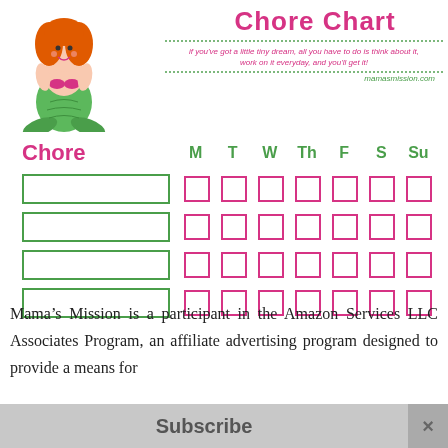Chore Chart
if you've got a little tiny dream, all you have to do is think about it, work on it everyday, and you'll get it!
mamasmission.com
[Figure (illustration): Cartoon mermaid with red hair, pink top, green tail, smiling]
| Chore | M | T | W | Th | F | S | Su |
| --- | --- | --- | --- | --- | --- | --- | --- |
|  |  |  |  |  |  |  |  |
|  |  |  |  |  |  |  |  |
|  |  |  |  |  |  |  |  |
|  |  |  |  |  |  |  |  |
Mama’s Mission is a participant in the Amazon Services LLC Associates Program, an affiliate advertising program designed to provide a means for
Subscribe